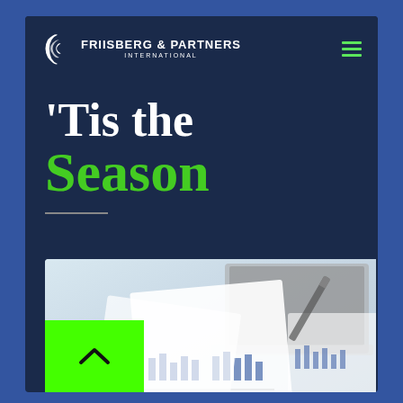[Figure (logo): Friisberg & Partners International logo with crescent moon icon in white]
'Tis the Season
[Figure (photo): Financial documents with bar charts and graphs, laptop in background, person holding printed report]